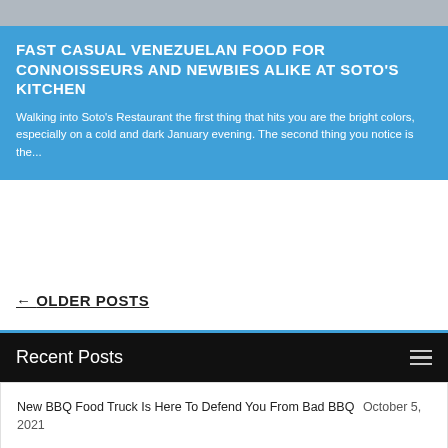[Figure (photo): Partial photo at top of page, gray/silver tones]
FAST CASUAL VENEZUELAN FOOD FOR CONNOISSEURS AND NEWBIES ALIKE AT SOTO'S KITCHEN
Walking into Soto's Restaurant the first thing that hits you are the bright colors, especially on a cold and dark January evening. The second thing you notice is the...
← OLDER POSTS
Recent Posts
New BBQ Food Truck Is Here To Defend You From Bad BBQ October 5, 2021
50 Most Iconic Dishes In Jax August 26, 2021
Jax's Original Thai Spot, By Way Of Saudi Arabia May 18, 2021
Blending Vietnamese, French, and American Cuisine in Jax's Surprising New Hot Spot April 15, 2021